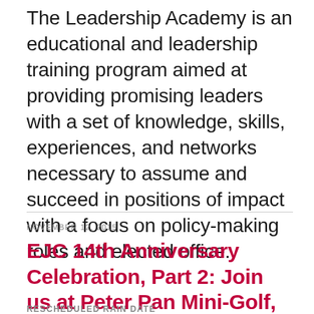The Leadership Academy is an educational and leadership training program aimed at providing promising leaders with a set of knowledge, skills, experiences, and networks necessary to assume and succeed in positions of impact with a focus on policy-making roles and elected office.
NOVEMBER 12, 2015
EJC 14th Anniversary Celebration, Part 2: Join us at Peter Pan Mini-Golf, Nov 12th
RESCHEDULED RAIN DATE